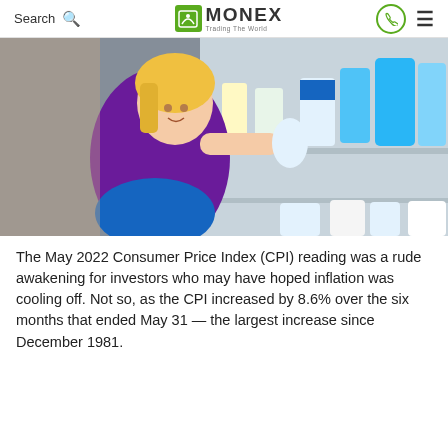Search | MONEX Trading The World
[Figure (photo): Woman with blonde hair in a purple shirt crouching in a store aisle, examining a plastic bottle from a shelf stocked with cleaning products and detergents.]
The May 2022 Consumer Price Index (CPI) reading was a rude awakening for investors who may have hoped inflation was cooling off. Not so, as the CPI increased by 8.6% over the six months that ended May 31 — the largest increase since December 1981.